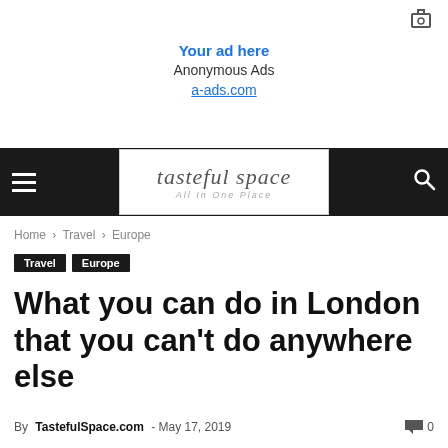[Figure (other): Small camera/sharing icon in top right corner]
Your ad here
Anonymous Ads
a-ads.com
[Figure (other): Website navigation bar with hamburger menu, tasteful space logo, and search icon]
Home › Travel › Europe
Travel   Europe
What you can do in London that you can't do anywhere else
By TastefulSpace.com - May 17, 2019   💬 0